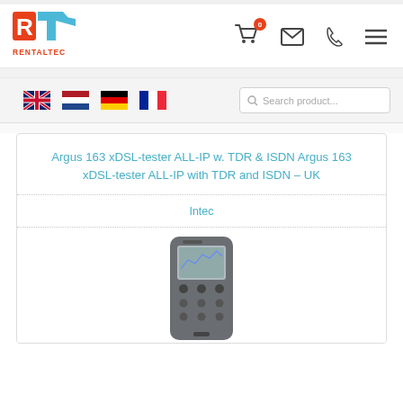[Figure (logo): RentalTec logo — red R and blue/cyan T arrow shape with RENTALTEC text below]
[Figure (infographic): Navigation bar with shopping cart icon (badge showing 0), envelope/email icon, phone icon, and hamburger menu icon]
[Figure (infographic): Language selector flags: UK flag, Netherlands flag, Germany flag, France flag; Search product... search box on the right]
Argus 163 xDSL-tester ALL-IP w. TDR & ISDN Argus 163 xDSL-tester ALL-IP with TDR and ISDN – UK
Intec
[Figure (photo): Photo of the Argus 163 xDSL tester device — a grey handheld device with a small screen and buttons]